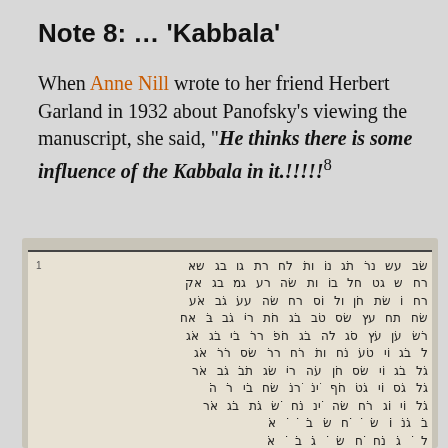Note 8: … 'Kabbala'
When Anne Nill wrote to her friend Herbert Garland in 1932 about Panofsky's viewing the manuscript, she said, "He thinks there is some influence of the Kabbala in it.!!!!!"⁸
[Figure (photo): A photograph of a manuscript page written in Hebrew script, showing multiple rows of Hebrew text arranged in columns on aged paper.]